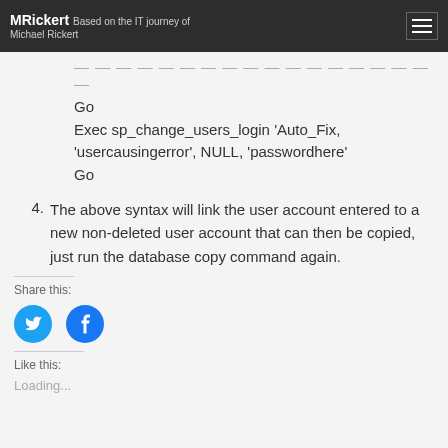MRickert Based on the IT journey of Michael Rickert
Go
Exec sp_change_users_login 'Auto_Fix, 'usercausingerror', NULL, 'passwordhere'
Go
4. The above syntax will link the user account entered to a new non-deleted user account that can then be copied, just run the database copy command again.
Share this:
Like this:
Loading...